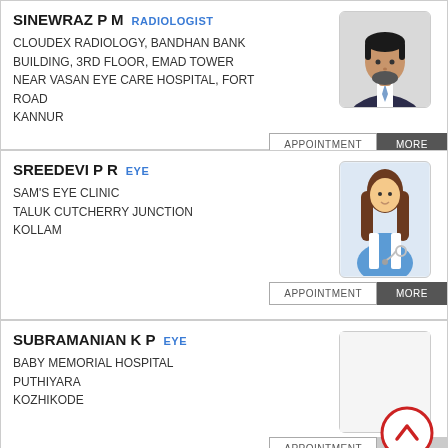SINEWRAZ P M — RADIOLOGIST
CLOUDEX RADIOLOGY, BANDHAN BANK BUILDING, 3RD FLOOR, EMAD TOWER
NEAR VASAN EYE CARE HOSPITAL, FORT ROAD
KANNUR
[Figure (photo): Photo of male doctor SINEWRAZ P M in suit]
SREEDEVI P R — EYE
SAM'S EYE CLINIC
TALUK CUTCHERRY JUNCTION
KOLLAM
[Figure (illustration): Generic female doctor icon with stethoscope]
SUBRAMANIAN K P — EYE
BABY MEMORIAL HOSPITAL
PUTHIYARA
KOZHIKODE
[Figure (illustration): Empty photo box with scroll-up arrow button overlay]